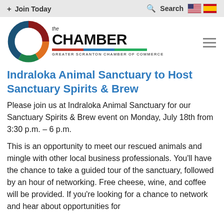+ Join Today    Q Search
[Figure (logo): Greater Scranton Chamber of Commerce logo — circular arc design in dark red, orange, blue, and green with 'the CHAMBER' text and colored bar above 'GREATER SCRANTON CHAMBER OF COMMERCE']
Indraloka Animal Sanctuary to Host Sanctuary Spirits & Brew
Please join us at Indraloka Animal Sanctuary for our Sanctuary Spirits & Brew event on Monday, July 18th from 3:30 p.m. – 6 p.m.
This is an opportunity to meet our rescued animals and mingle with other local business professionals. You'll have the chance to take a guided tour of the sanctuary, followed by an hour of networking. Free cheese, wine, and coffee will be provided. If you're looking for a chance to network and hear about opportunities for